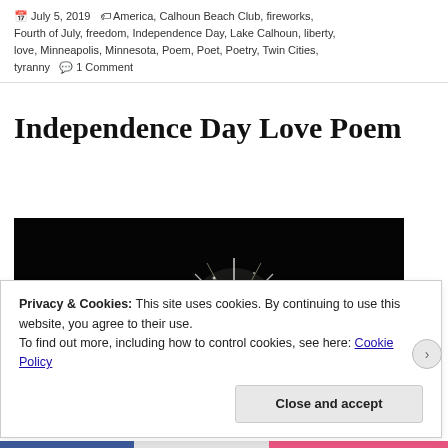July 5, 2019 · America, Calhoun Beach Club, fireworks, Fourth of July, freedom, Independence Day, Lake Calhoun, liberty, love, Minneapolis, Minnesota, Poem, Poet, Poetry, Twin Cities, tyranny · 1 Comment
Independence Day Love Poem
[Figure (photo): Dark night sky photograph showing fireworks burst with bright starburst of light in center, silhouettes of people/trees at bottom left]
Privacy & Cookies: This site uses cookies. By continuing to use this website, you agree to their use.
To find out more, including how to control cookies, see here: Cookie Policy
Close and accept